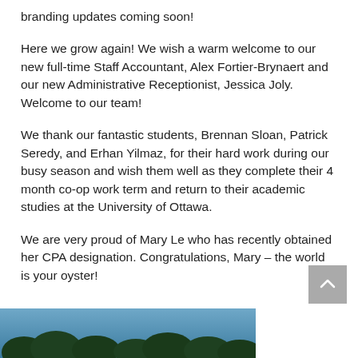branding updates coming soon!
Here we grow again! We wish a warm welcome to our new full-time Staff Accountant, Alex Fortier-Brynaert and our new Administrative Receptionist, Jessica Joly. Welcome to our team!
We thank our fantastic students, Brennan Sloan, Patrick Seredy, and Erhan Yilmaz, for their hard work during our busy season and wish them well as they complete their 4 month co-op work term and return to their academic studies at the University of Ottawa.
We are very proud of Mary Le who has recently obtained her CPA designation. Congratulations, Mary – the world is your oyster!
[Figure (photo): Partial outdoor photo at the bottom of the page, showing blue sky and tree tops]